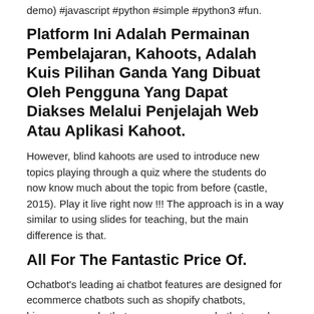demo) #javascript #python #simple #python3 #fun.
Platform Ini Adalah Permainan Pembelajaran, Kahoots, Adalah Kuis Pilihan Ganda Yang Dibuat Oleh Pengguna Yang Dapat Diakses Melalui Penjelajah Web Atau Aplikasi Kahoot.
However, blind kahoots are used to introduce new topics playing through a quiz where the students do now know much about the topic from before (castle, 2015). Play it live right now !!! The approach is in a way similar to using slides for teaching, but the main difference is that.
All For The Fantastic Price Of.
Ochatbot's leading ai chatbot features are designed for ecommerce chatbots such as shopify chatbots, bigcommerce chatbots, woocommerce chatbots and megento chatbots as well as b2b sales and support chatbot. Log in or sign up to